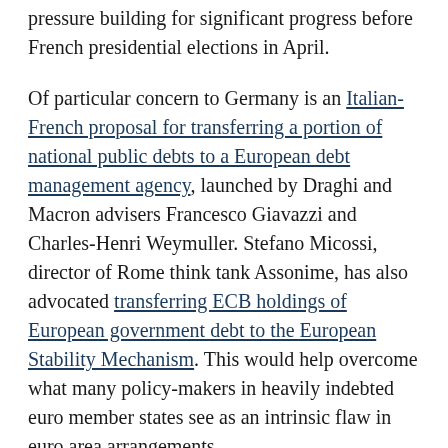pressure building for significant progress before French presidential elections in April.
Of particular concern to Germany is an Italian-French proposal for transferring a portion of national public debts to a European debt management agency, launched by Draghi and Macron advisers Francesco Giavazzi and Charles-Henri Weymuller. Stefano Micossi, director of Rome think tank Assonime, has also advocated transferring ECB holdings of European government debt to the European Stability Mechanism. This would help overcome what many policy-makers in heavily indebted euro member states see as an intrinsic flaw in euro area arrangements.
As Micossi puts it: ‘The availability of the common currency for stabilising sovereign and banking